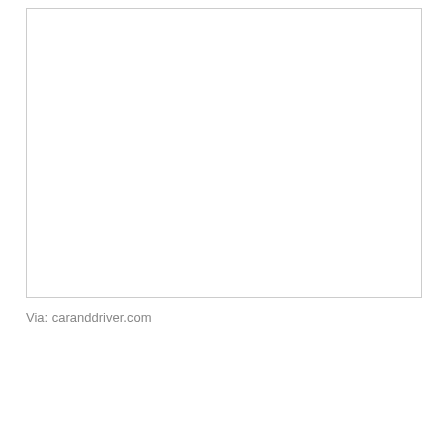[Figure (photo): Empty white rectangular image placeholder with a light gray border]
Via: caranddriver.com